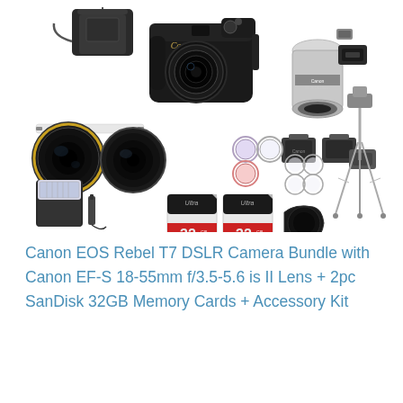[Figure (photo): Canon EOS Rebel T7 DSLR camera bundle product photo showing the camera body with 18-55mm lens attached, a camera bag, a separate 18-55mm lens, camera strap, battery charger, wide angle and telephoto lens attachments, filter sets, flash unit, two 32GB SanDisk Ultra SD memory cards, a tripod, and various accessories laid out together.]
Canon EOS Rebel T7 DSLR Camera Bundle with Canon EF-S 18-55mm f/3.5-5.6 is II Lens + 2pc SanDisk 32GB Memory Cards + Accessory Kit